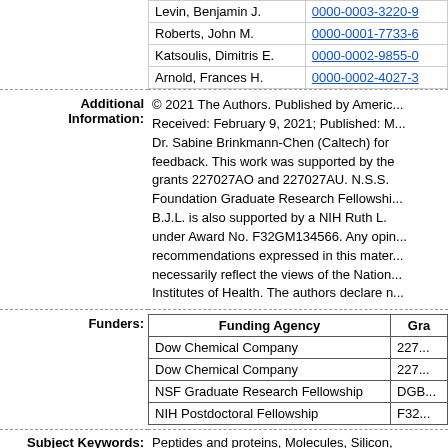| Name | ORCID |
| --- | --- |
| Levin, Benjamin J. | 0000-0003-3220-9... |
| Roberts, John M. | 0000-0001-7733-6... |
| Katsoulis, Dimitris E. | 0000-0002-9855-0... |
| Arnold, Frances H. | 0000-0002-4027-3... |
Additional Information: © 2021 The Authors. Published by Americ... Received: February 9, 2021; Published: M... Dr. Sabine Brinkmann-Chen (Caltech) for feedback. This work was supported by the grants 227027AO and 227027AU. N.S.S. Foundation Graduate Research Fellowship... B.J.L. is also supported by a NIH Ruth L. under Award No. F32GM134566. Any opin... recommendations expressed in this mater... necessarily reflect the views of the Nation... Institutes of Health. The authors declare n...
| Funding Agency | Gra... |
| --- | --- |
| Dow Chemical Company | 227... |
| Dow Chemical Company | 227... |
| NSF Graduate Research Fellowship | DGB... |
| NIH Postdoctoral Fellowship | F32... |
Subject Keywords: Peptides and proteins, Molecules, Silicon,...
Issue or Number: 6